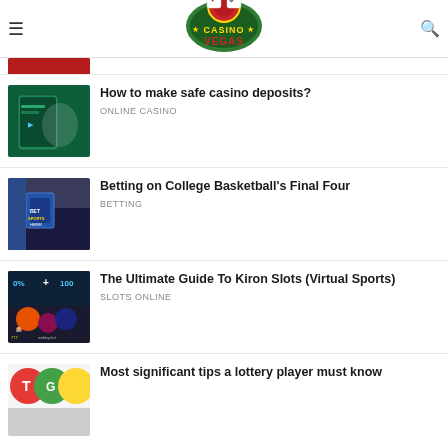Casino Vegas
[Figure (logo): Casino Vegas logo with playing cards and poker chip]
[Figure (photo): Thumbnail image - hand holding phone with casino app on green table]
How to make safe casino deposits?
ONLINE CASINO
[Figure (photo): Thumbnail image - sports betting shop with BET SPORTS HERE sign]
Betting on College Basketball's Final Four
BETTING
[Figure (photo): Thumbnail image - Kiron virtual slots game with cartoon characters]
The Ultimate Guide To Kiron Slots (Virtual Sports)
SLOTS ONLINE
[Figure (photo): Thumbnail image - colorful lottery balls]
Most significant tips a lottery player must know